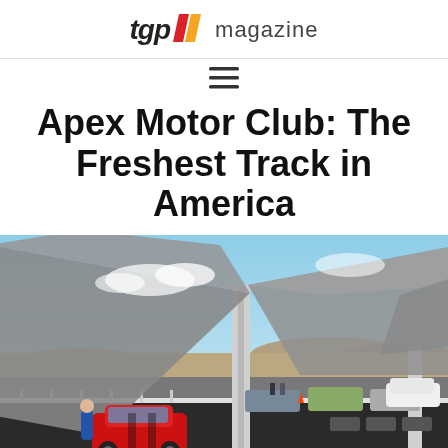[Figure (logo): TGP Magazine logo with red and orange diagonal slash marks between 'tgp' in italic bold and 'magazine' in regular weight]
[Figure (other): Hamburger menu icon (three horizontal lines)]
Apex Motor Club: The Freshest Track in America
[Figure (photo): Photo of a motor club track facility with large tensioned shade canopy structures, a red Chevrolet Camaro in the foreground with a person in blue, other cars lined up at the pit lane, desert landscape and blue sky in background]